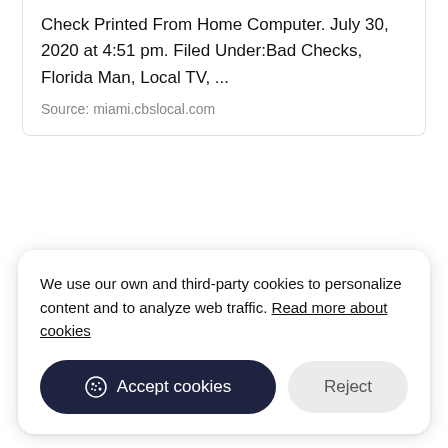Check Printed From Home Computer. July 30, 2020 at 4:51 pm. Filed Under:Bad Checks, Florida Man, Local TV, ...
Source: miami.cbslocal.com
We use our own and third-party cookies to personalize content and to analyze web traffic. Read more about cookies